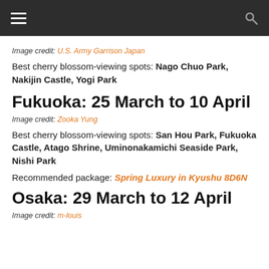navigation bar with hamburger menu and search icon
Image credit: U.S. Army Garrison Japan
Best cherry blossom-viewing spots: Nago Chuo Park, Nakijin Castle, Yogi Park
Fukuoka: 25 March to 10 April
Image credit: Zooka Yung
Best cherry blossom-viewing spots: San Hou Park, Fukuoka Castle, Atago Shrine, Uminonakamichi Seaside Park, Nishi Park
Recommended package: Spring Luxury in Kyushu 8D6N
Osaka: 29 March to 12 April
Image credit: m-louis